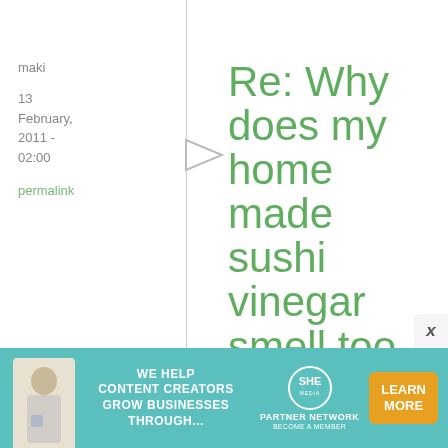maki
13 February, 2011 - 02:00
permalink
Re: Why does my home made sushi vinegar smell too strong?
The vinegar is
[Figure (infographic): Advertisement banner: 'WE HELP CONTENT CREATORS GROW BUSINESSES THROUGH...' with SHE partner network logo and Learn More button]